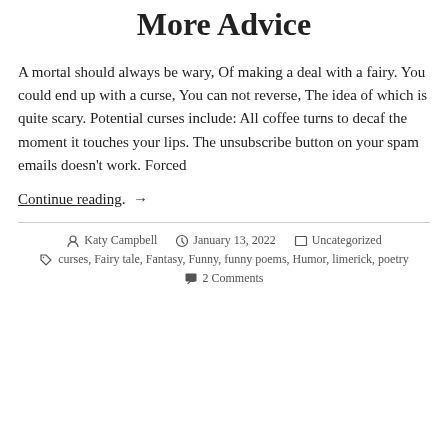More Advice
A mortal should always be wary, Of making a deal with a fairy. You could end up with a curse, You can not reverse, The idea of which is quite scary. Potential curses include: All coffee turns to decaf the moment it touches your lips. The unsubscribe button on your spam emails doesn't work. Forced
Continue reading. →
Katy Campbell · January 13, 2022 · Uncategorized · curses, Fairy tale, Fantasy, Funny, funny poems, Humor, limerick, poetry · 2 Comments